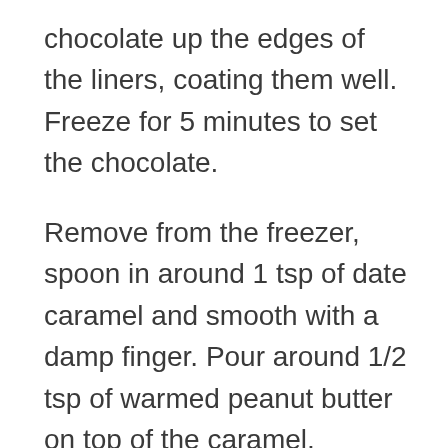chocolate up the edges of the liners, coating them well. Freeze for 5 minutes to set the chocolate.
Remove from the freezer, spoon in around 1 tsp of date caramel and smooth with a damp finger. Pour around 1/2 tsp of warmed peanut butter on top of the caramel, spreading and smoothing it to the inside edges of the liner. Freeze again for 5 minutes.